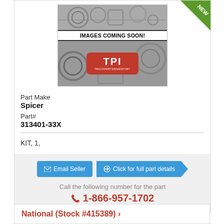[Figure (photo): TPI (Truck Parts Inventory) placeholder image with engine parts background, 'IMAGES COMING SOON!' text, and TPI red logo. A green 'NEW' badge is in the top-right corner.]
Part Make
Spicer
Part#
313401-33X
KIT, 1,
Email Seller
Click for full part details
Call the following number for the part
1-866-957-1702
National (Stock #415389) ›